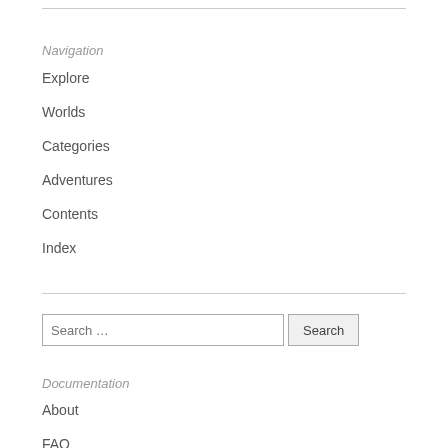Navigation
Explore
Worlds
Categories
Adventures
Contents
Index
Search …
Documentation
About
FAQ